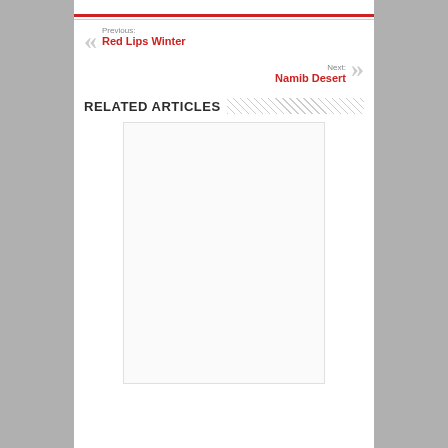Previous: Red Lips Winter
Next: Namib Desert
RELATED ARTICLES
[Figure (other): Empty article card placeholder]